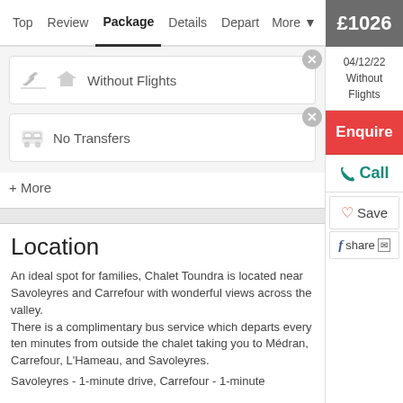Top | Review | Package | Details | Depart | More ▾ | £1026
Without Flights
No Transfers
+ More
04/12/22 Without Flights
Enquire
Call
Save
share
Location
An ideal spot for families, Chalet Toundra is located near Savoleyres and Carrefour with wonderful views across the valley.
There is a complimentary bus service which departs every ten minutes from outside the chalet taking you to Médran, Carrefour, L'Hameau, and Savoleyres.
Savoleyres - 1-minute drive, Carrefour - 1-minute drive/1-minute walk, and Savoleyres.